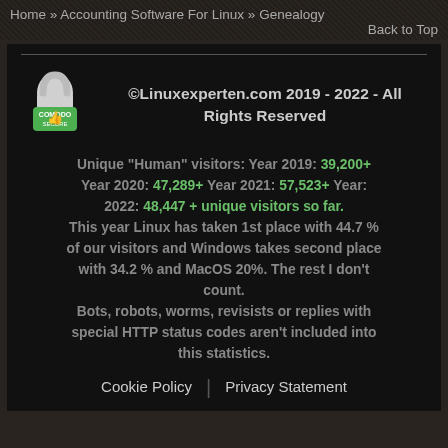Home » Accounting Software For Linux » Genealogy
Back to Top
[Figure (logo): Comodo Secure padlock badge with green thumbs-up icon]
©Linuxexperten.com 2019 - 2022 - All Rights Reserved
Unique "Human" visitors: Year 2019: 39,200+ Year 2020: 47,289+ Year 2021: 57,523+ Year: 2022: 48,447 + unique visitors so far.
This year Linux has taken 1st place with 44.7 % of our visitors and Windows takes second place with 34.2 % and MacOS 20%. The rest I don't count.
Bots, robots, worms, revisists or replies with special HTTP status codes aren't included into this statistics.
Cookie Policy | Privacy Statement